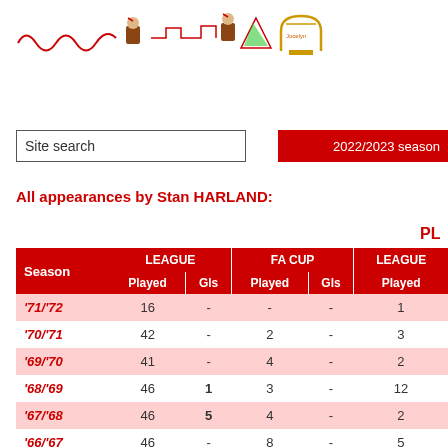[Site logo/banner graphic]
Site search
2022/2023 season
All appearances by Stan HARLAND:
PL
| Season | LEAGUE Played | LEAGUE Gls | FA CUP Played | FA CUP Gls | LEAGUE Played |
| --- | --- | --- | --- | --- | --- |
| '71/'72 | 16 | - | - | - | 1 |
| '70/'71 | 42 | - | 2 | - | 3 |
| '69/'70 | 41 | - | 4 | - | 2 |
| '68/'69 | 46 | 1 | 3 | - | 12 |
| '67/'68 | 46 | 5 | 4 | - | 2 |
| '66/'67 | 46 | - | 8 | - | 5 |